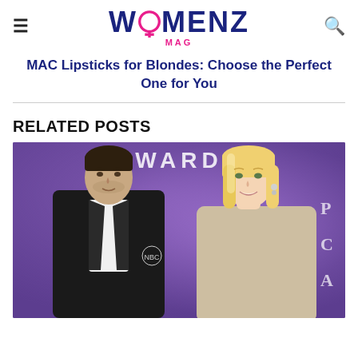WOMENZ MAG
MAC Lipsticks for Blondes: Choose the Perfect One for You
RELATED POSTS
[Figure (photo): A man in a black suit and a blonde woman in a sparkly dress posing at an awards event with a purple backdrop showing 'AWARDS' text and NBC logo]